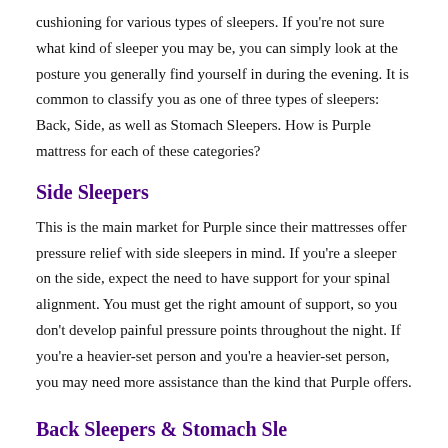cushioning for various types of sleepers. If you're not sure what kind of sleeper you may be, you can simply look at the posture you generally find yourself in during the evening. It is common to classify you as one of three types of sleepers: Back, Side, as well as Stomach Sleepers. How is Purple mattress for each of these categories?
Side Sleepers
This is the main market for Purple since their mattresses offer pressure relief with side sleepers in mind. If you're a sleeper on the side, expect the need to have support for your spinal alignment. You must get the right amount of support, so you don't develop painful pressure points throughout the night. If you're a heavier-set person and you're a heavier-set person, you may need more assistance than the kind that Purple offers.
Back Sleepers & Stomach Sle...